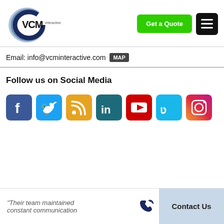[Figure (logo): VCM Interactive logo with stylized C shape in blue/gray and bold VCM text]
Get a Quote
Email: info@vcminteractive.com MAP
Follow us on Social Media
[Figure (infographic): Row of 7 social media icons: Facebook (blue), Twitter (light blue), RSS (gold/orange), LinkedIn (teal), YouTube (red), Vimeo (teal), Instagram (gradient)]
"Their team maintained constant communication
Contact Us